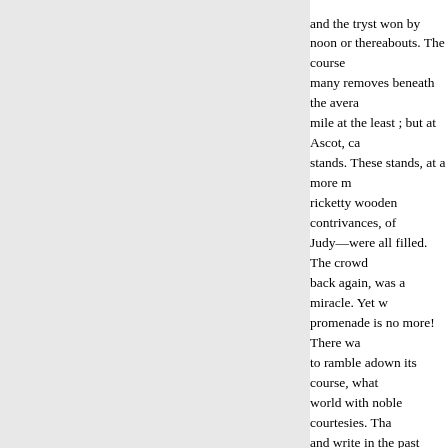and the tryst won by noon or thereabouts. The course many removes beneath the average mile at the least ; but at Ascot, ca stands. These stands, at a more m ricketty wooden contrivances, of Judy—were all filled. The crowd back again, was a miracle. Yet w promenade is no more! There wa to ramble adown its course, what world with noble courtesies. Tha and write in the past tense. Now ultra party incidentally lounging Stewards' stands. We demanded t he. " But whence the mob?" we p plebeian monosyllable the raff-o There was a report current about premature, or altogether a fable. mercenaries—both for strangers, coming !" and the course was pa of Tuesday, with the addition of which the noble insides sat packe with every demonstration of Eng